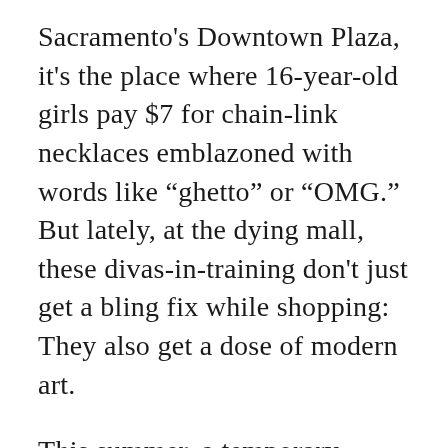Sacramento's Downtown Plaza, it's the place where 16-year-old girls pay $7 for chain-link necklaces emblazoned with words like “ghetto” or “OMG.” But lately, at the dying mall, these divas-in-training don't just get a bling fix while shopping: They also get a dose of modern art.
This summer, a temporary gallery exhibit moved in next door to Forever 21's first-floor location. You can't miss it: It's a showy, 12,000-square-foot